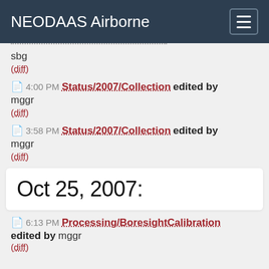NEODAAS Airborne
sbg
(diff)
4:00 PM Status/2007/Collection edited by mggr
(diff)
3:58 PM Status/2007/Collection edited by mggr
(diff)
Oct 25, 2007:
6:13 PM Processing/BoresightCalibration edited by mggr
(diff)